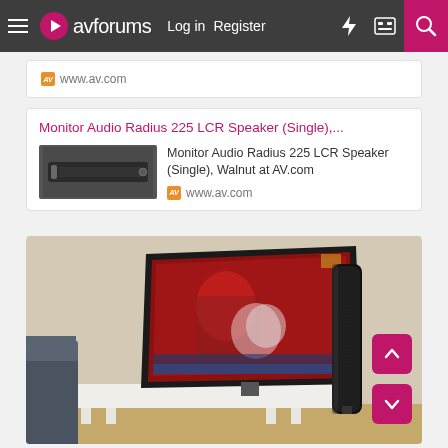avforums — Log in | Register
www.av.com
Monitor Audio Radius 225 LCR Speaker (Single),....
Monitor Audio Radius 225 LCR Speaker (Single), Walnut at AV.com
www.av.com
[Figure (photo): Room photo showing a large flat-screen TV mounted on a white wall, displaying a red image. To the right of the TV is a tall slim black speaker (Monitor Audio Radius) also wall-mounted. A white sideboard stands below the TV. A dark sofa arm is visible on the left.]